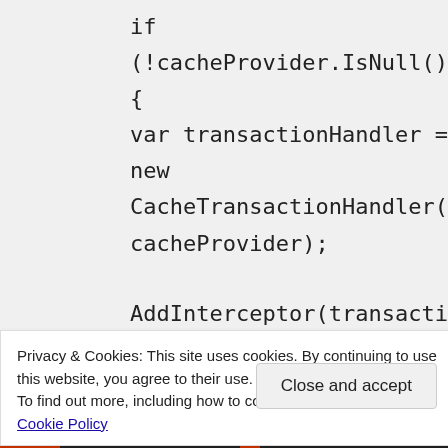if (!cacheProvider.IsNull())
{
var transactionHandler = new CacheTransactionHandler((ICache) cacheProvider);

AddInterceptor(transactionHandler);

Iscacheable = true;
Loaded +=
(sender, args) =>
args.ReplaceService(
Privacy & Cookies: This site uses cookies. By continuing to use this website, you agree to their use.
To find out more, including how to control cookies, see here: Cookie Policy
Close and accept